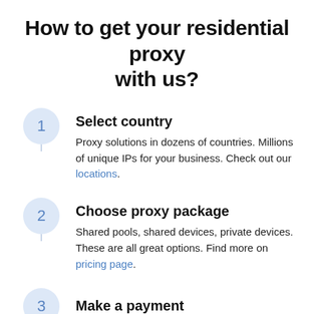How to get your residential proxy with us?
1. Select country — Proxy solutions in dozens of countries. Millions of unique IPs for your business. Check out our locations.
2. Choose proxy package — Shared pools, shared devices, private devices. These are all great options. Find more on pricing page.
3. Make a payment